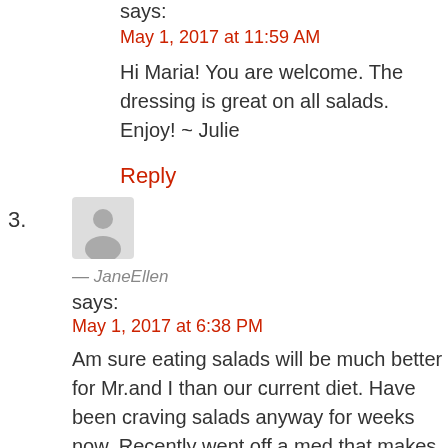says:
May 1, 2017 at 11:59 AM
Hi Maria! You are welcome. The dressing is great on all salads. Enjoy! ~ Julie
Reply
[Figure (illustration): Generic user avatar icon — grey silhouette of a person on light grey background]
— JaneEllen
says:
May 1, 2017 at 6:38 PM
Am sure eating salads will be much better for Mr.and I than our current diet. Have been craving salads anyway for weeks now. Recently went off a med that makes person want to eat not good unhealthy food for them. I can happily eat just
salad to fill me up so losing some weight would be happy bonus. Bought some new capris but are bit